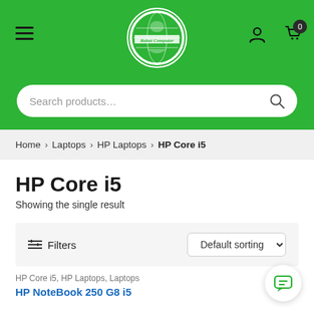[Figure (screenshot): Rabat Computer e-commerce website header with green background, logo, hamburger menu, user icon, cart icon with 0 badge, and search bar]
Home > Laptops > HP Laptops > HP Core i5
HP Core i5
Showing the single result
Filters   Default sorting
HP Core i5, HP Laptops, Laptops
HP NoteBook 250 G8 i5